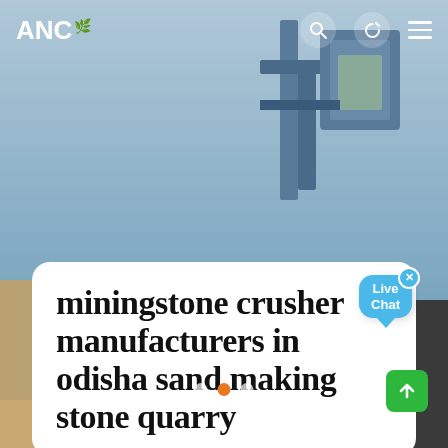[Figure (photo): Background image showing construction/mining machinery and workers at a stone quarry site. Industrial equipment including a blue metal structure/crane visible at top, workers in safety gear at left, and heavy stone crushing machinery at bottom.]
ANC
miningstone crusher manufacturers in odisha sand making stone quarry
[Figure (infographic): Live Chat bubble widget in blue with close button]
[Figure (infographic): Carousel navigation dots: three dots with middle one highlighted orange]
[Figure (infographic): Green scroll-to-top button with upward arrow at bottom right]